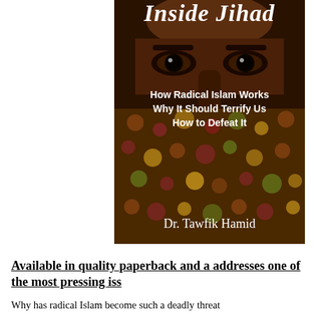[Figure (illustration): Book cover of 'Inside Jihad' by Dr. Tawfik Hamid. Shows a close-up of a man's eyes and face partially covered by a patterned cloth (veil). Title text 'Inside Jihad' appears at top in italic serif font. Subtitle lines: 'How Radical Islam Works', 'Why It Should Terrify Us', 'How to Defeat It'. Author name 'Dr. Tawfik Hamid' at bottom.]
Available in quality paperback and a... addresses one of the most pressing iss...
Why has radical Islam become such a deadly threat...